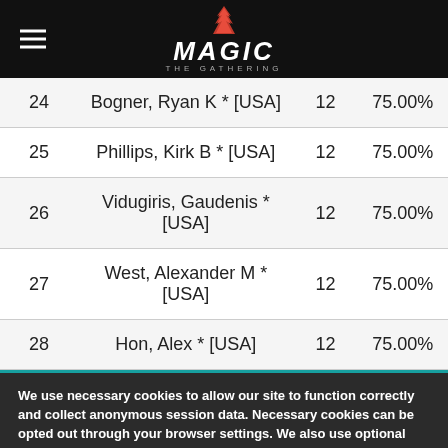MAGIC THE GATHERING
| # | Name | Points | % |
| --- | --- | --- | --- |
| 24 | Bogner, Ryan K * [USA] | 12 | 75.00% |
| 25 | Phillips, Kirk B * [USA] | 12 | 75.00% |
| 26 | Vidugiris, Gaudenis * [USA] | 12 | 75.00% |
| 27 | West, Alexander M * [USA] | 12 | 75.00% |
| 28 | Hon, Alex * [USA] | 12 | 75.00% |
We use necessary cookies to allow our site to function correctly and collect anonymous session data. Necessary cookies can be opted out through your browser settings. We also use optional cookies to personalize content and ads, provide social medial features and analyze web traffic. By clicking “OK, I agree,” you consent to optional cookies. (Learn more about cookies.)
OK, I agree   No, thanks